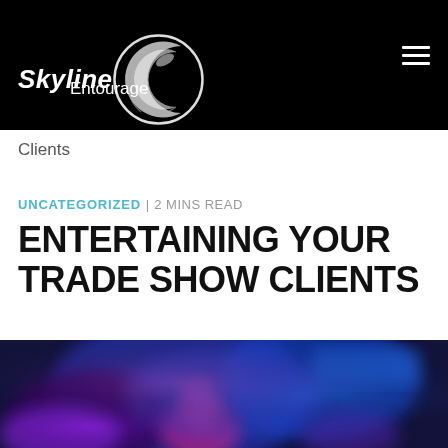Skyline Entourage
Clients
UNCATEGORIZED | 2 MINS READ
ENTERTAINING YOUR TRADE SHOW CLIENTS
[Figure (photo): Blurred trade show event scene with blue/purple lighting, people visible in foreground, logo overlay visible in upper right]